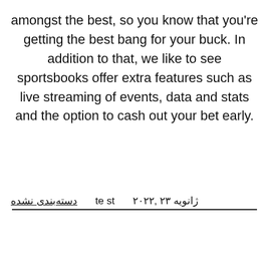amongst the best, so you know that you're getting the best bang for your buck. In addition to that, we like to see sportsbooks offer extra features such as live streaming of events, data and stats and the option to cash out your bet early.
ژانویه ۲۳ ,۲۰۲۲   te st   دسته‌بندی نشده